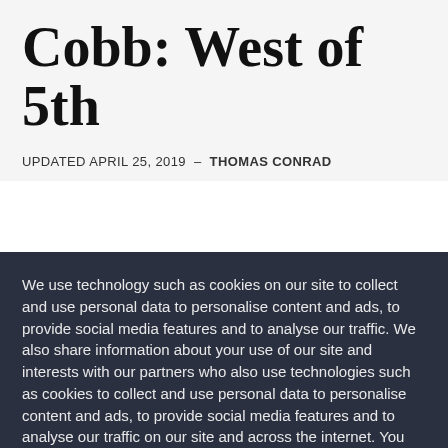Cobb: West of 5th
UPDATED APRIL 25, 2019  –  THOMAS CONRAD
We use technology such as cookies on our site to collect and use personal data to personalise content and ads, to provide social media features and to analyse our traffic. We also share information about your use of our site and interests with our partners who also use technologies such as cookies to collect and use personal data to personalise content and ads, to provide social media features and to analyse our traffic on our site and across the internet. You can always change your mind and revisit your choices.
Manage Options | I Accept